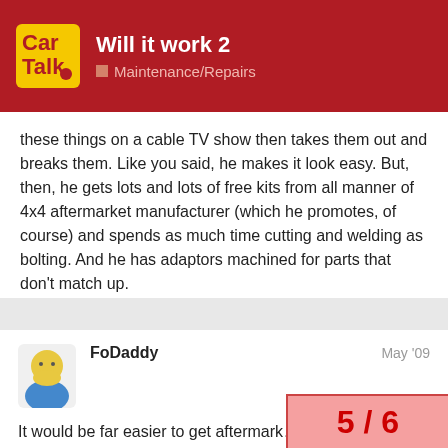Will it work 2 — Maintenance/Repairs
these things on a cable TV show then takes them out and breaks them. Like you said, he makes it look easy. But, then, he gets lots and lots of free kits from all manner of 4x4 aftermarket manufacturer (which he promotes, of course) and spends as much time cutting and welding as bolting. And he has adaptors machined for parts that don't match up.
FoDaddy  May '09
It would be far easier to get aftermark… and an aftermarkert locker for the rea…
5 / 6